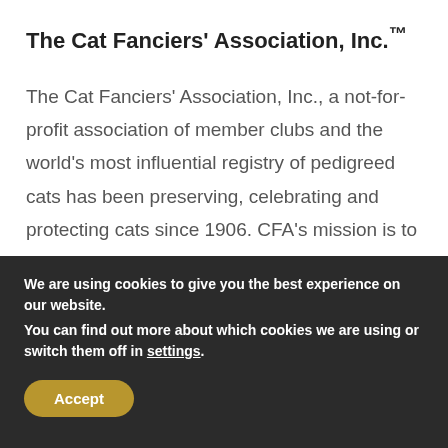The Cat Fanciers' Association, Inc.™
The Cat Fanciers' Association, Inc., a not-for-profit association of member clubs and the world's most influential registry of pedigreed cats has been preserving, celebrating and protecting cats since 1906. CFA's mission is to preserve and promote the pedigreed breeds of cats and to enhance the well-being of ALL cats
We are using cookies to give you the best experience on our website.
You can find out more about which cookies we are using or switch them off in settings.
Accept